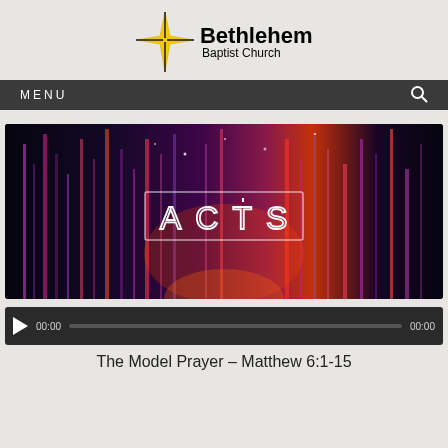[Figure (logo): Bethlehem Baptist Church logo with a gold 4-pointed star and church name in bold black text]
MENU
[Figure (photo): ACTS sermon series graphic with vertical colorful light streaks on dark background spelling ACTS in white outlined letters]
[Figure (other): Audio player control bar with play button, 00:00 start time, progress bar, and 00:00 end time]
The Model Prayer – Matthew 6:1-15